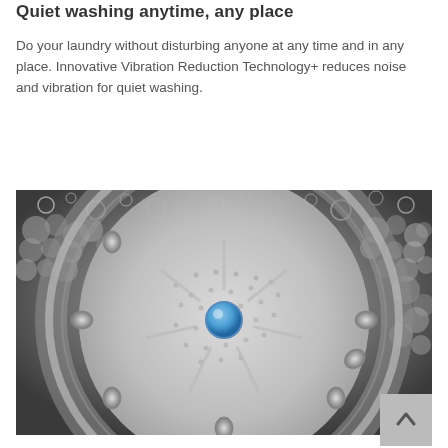Quiet washing anytime, any place
Do your laundry without disturbing anyone at any time and in any place. Innovative Vibration Reduction Technology+ reduces noise and vibration for quiet washing.
[Figure (photo): Interior view of a washing machine drum with soap bubbles and foam visible around the stainless steel drum walls, showing the central agitator/impeller plate from above.]